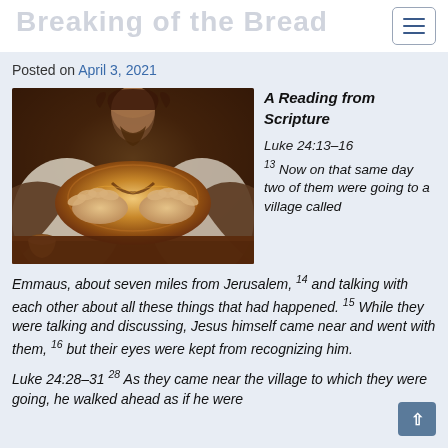Breaking of the Bread
Posted on April 3, 2021
[Figure (photo): Person in white robe breaking a large round loaf of bread over a wooden table, with a clay cup visible to the left.]
A Reading from Scripture

Luke 24:13-16
13 Now on that same day two of them were going to a village called Emmaus, about seven miles from Jerusalem, 14 and talking with each other about all these things that had happened. 15 While they were talking and discussing, Jesus himself came near and went with them, 16 but their eyes were kept from recognizing him.
Luke 24:28-31 28 As they came near the village to which they were going, he walked ahead as if he were